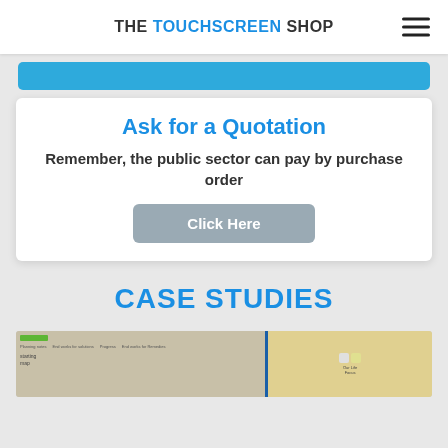THE TOUCHSCREEN SHOP
[Figure (other): Blue button partially visible at top]
Ask for a Quotation
Remember, the public sector can pay by purchase order
Click Here
CASE STUDIES
[Figure (screenshot): Partial screenshot of a classroom/educational touchscreen application at the bottom of the page]